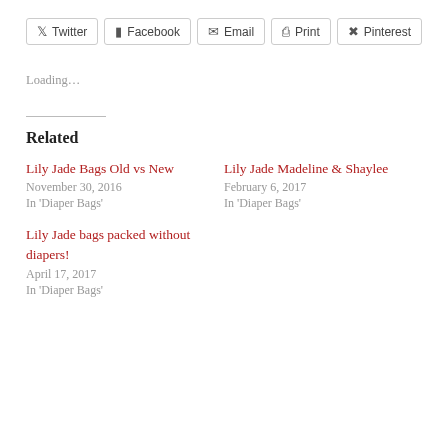Twitter Facebook Email Print Pinterest
Loading…
Related
Lily Jade Bags Old vs New
November 30, 2016
In 'Diaper Bags'
Lily Jade Madeline & Shaylee
February 6, 2017
In 'Diaper Bags'
Lily Jade bags packed without diapers!
April 17, 2017
In 'Diaper Bags'